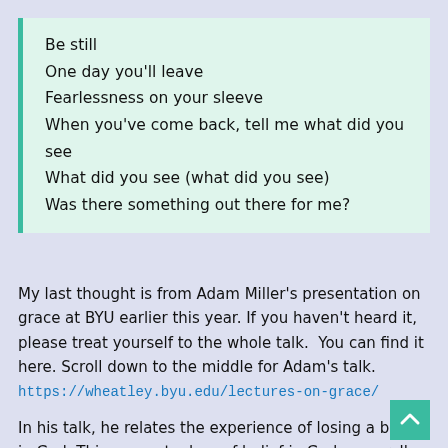Be still
One day you'll leave
Fearlessness on your sleeve
When you've come back, tell me what did you see
What did you see (what did you see)
Was there something out there for me?
My last thought is from Adam Miller's presentation on grace at BYU earlier this year. If you haven't heard it, please treat yourself to the whole talk.  You can find it here. Scroll down to the middle for Adam's talk. https://wheatley.byu.edu/lectures-on-grace/
In his talk, he relates the experience of losing a belief in God. This was not a loss of belief in God, generally. But a loss in belief in a specific kind of God. The distant, judgemental God who is not approachable. He's a stern,